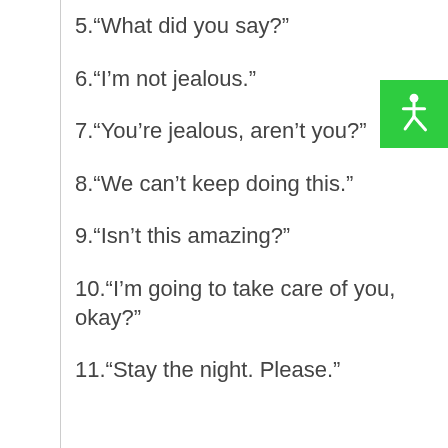5.“What did you say?”
6.“I’m not jealous.”
7.“You’re jealous, aren’t you?”
8.“We can’t keep doing this.”
9.“Isn’t this amazing?”
10.“I’m going to take care of you, okay?”
11.“Stay the night. Please.”